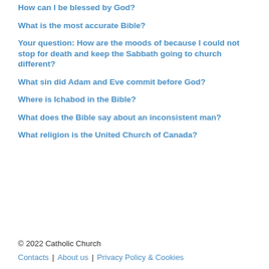How can I be blessed by God?
What is the most accurate Bible?
Your question: How are the moods of because I could not stop for death and keep the Sabbath going to church different?
What sin did Adam and Eve commit before God?
Where is Ichabod in the Bible?
What does the Bible say about an inconsistent man?
What religion is the United Church of Canada?
© 2022 Catholic Church
Contacts | About us | Privacy Policy & Cookies